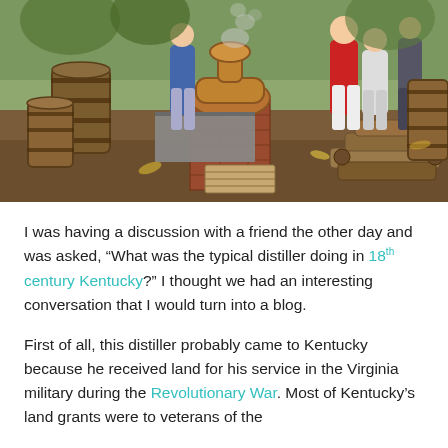[Figure (photo): Outdoor historical distillery scene with wooden barrels, a copper pot still over a brick furnace with smoke rising, firewood stacked in the background, and several people in period clothing standing around.]
I was having a discussion with a friend the other day and was asked, “What was the typical distiller doing in 18th century Kentucky?” I thought we had an interesting conversation that I would turn into a blog.
First of all, this distiller probably came to Kentucky because he received land for his service in the Virginia military during the Revolutionary War. Most of Kentucky’s land grants were to veterans of the